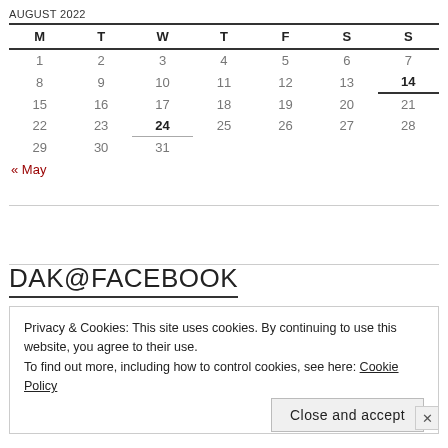AUGUST 2022
| M | T | W | T | F | S | S |
| --- | --- | --- | --- | --- | --- | --- |
| 1 | 2 | 3 | 4 | 5 | 6 | 7 |
| 8 | 9 | 10 | 11 | 12 | 13 | 14 |
| 15 | 16 | 17 | 18 | 19 | 20 | 21 |
| 22 | 23 | 24 | 25 | 26 | 27 | 28 |
| 29 | 30 | 31 |  |  |  |  |
« May
DAK@FACEBOOK
Privacy & Cookies: This site uses cookies. By continuing to use this website, you agree to their use.
To find out more, including how to control cookies, see here: Cookie Policy
Close and accept